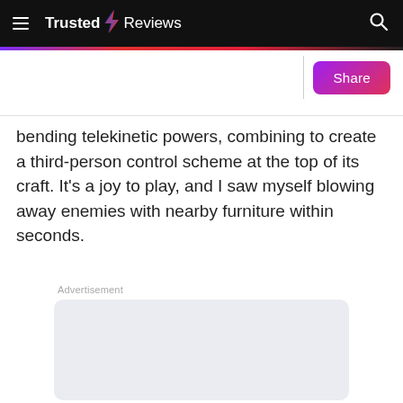Trusted Reviews
bending telekinetic powers, combining to create a third-person control scheme at the top of its craft. It's a joy to play, and I saw myself blowing away enemies with nearby furniture within seconds.
Advertisement